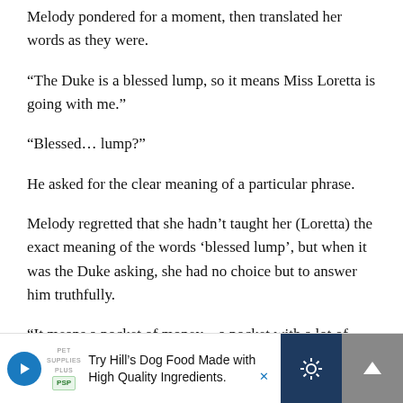Melody pondered for a moment, then translated her words as they were.
“The Duke is a blessed lump, so it means Miss Loretta is going with me.”
“Blessed… lump?”
He asked for the clear meaning of a particular phrase.
Melody regretted that she hadn’t taught her (Loretta) the exact meaning of the words ‘blessed lump’, but when it was the Duke asking, she had no choice but to answer him truthfully.
“It means a pocket of money – a pocket with a lot of money
[Figure (other): Advertisement banner for Hill's Dog Food with play button, logo, text 'Try Hill's Dog Food Made with High Quality Ingredients.', settings gear icon button, and scroll up arrow button]